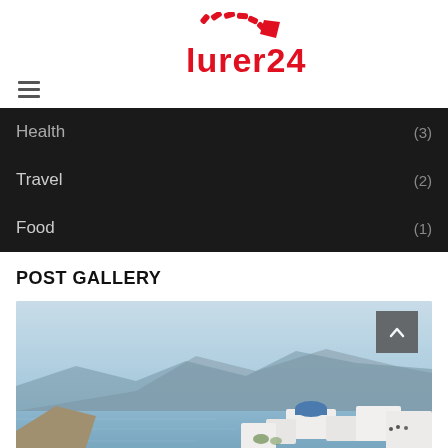[Figure (logo): Lurer24 logo - red arched dashes above red stylized Armenian text 'Lurer24']
Health (3)
Travel (2)
Food (1)
POST GALLERY
[Figure (photo): Scenic view of Santorini, Greece — white buildings with blue domes in the foreground, blue sea and mountain cliffs in the background under a light blue sky.]